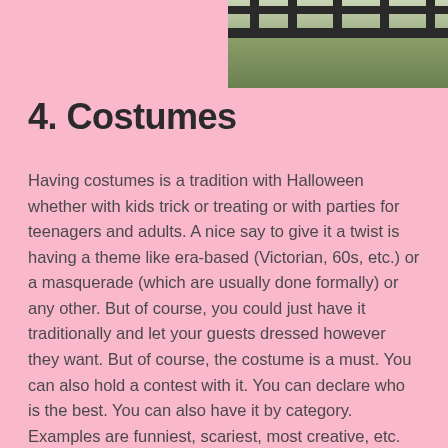[Figure (photo): Partial photo in top-right corner showing outdoor scene with dark fence/table bars and green background vegetation]
4. Costumes
Having costumes is a tradition with Halloween whether with kids trick or treating or with parties for teenagers and adults. A nice say to give it a twist is having a theme like era-based (Victorian, 60s, etc.) or a masquerade (which are usually done formally) or any other. But of course, you could just have it traditionally and let your guests dressed however they want. But of course, the costume is a must. You can also hold a contest with it. You can declare who is the best. You can also have it by category. Examples are funniest, scariest, most creative, etc. This could be a surprise or said ahead of time to make it more exciting and competitive.